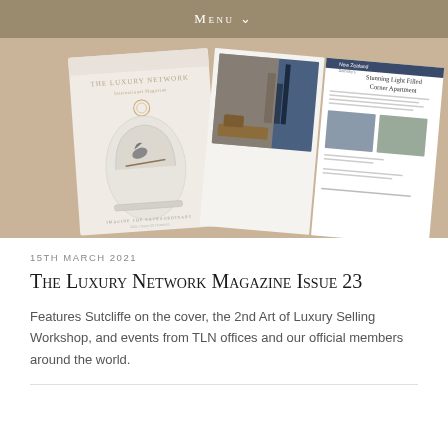Menu
[Figure (photo): Two luxury magazine issues displayed at an angle on a warm beige background. Left shows The Luxury Network International Magazine cover with a bird under a glass dome. Right shows an open spread with a property listing titled 'Stunning Light Filled Corner Apartment' featuring interior and city skyline photography.]
15TH MARCH 2021
The Luxury Network Magazine Issue 23
Features Sutcliffe on the cover, the 2nd Art of Luxury Selling Workshop, and events from TLN offices and our official members around the world.